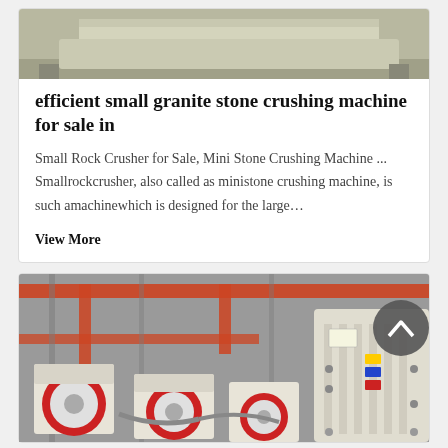[Figure (photo): Bottom portion of a light-colored industrial crushing machine on a gray floor]
efficient small granite stone crushing machine for sale in
Small Rock Crusher for Sale, Mini Stone Crushing Machine ... Smallrockcrusher, also called as ministone crushing machine, is such amachinewhich is designed for the large…
View More
[Figure (photo): Industrial factory floor showing multiple jaw crusher machines with red flywheel discs, orange overhead crane structures, and a jaw crusher unit on the right side with safety labels. A circular dark back-to-top button overlays the top right.]